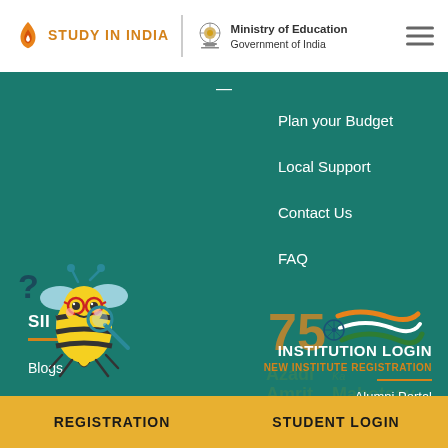STUDY IN INDIA | Ministry of Education Government of India
Plan your Budget
Local Support
Contact Us
FAQ
SII MEDIA
Blogs
[Figure (logo): Azadi Ka Amrit Mahotsav logo with 75 years Indian flag motif]
[Figure (illustration): Bee mascot with question mark, glasses, holding magnifying glass]
INSTITUTION LOGIN
NEW INSTITUTE REGISTRATION
Alumni Portal
#SayYEStoStudyinIndia
REGISTRATION    STUDENT LOGIN